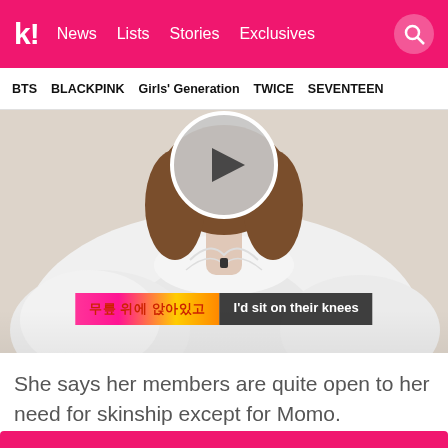k! News Lists Stories Exclusives
BTS  BLACKPINK  Girls' Generation  TWICE  SEVENTEEN
[Figure (photo): A person wearing a white ruffled blouse, face blurred with a circle overlay, with Korean and English subtitles reading 'I'd sit on their knees']
She says her members are quite open to her need for skinship except for Momo.
[Figure (photo): Partial pink banner at the bottom of the page]